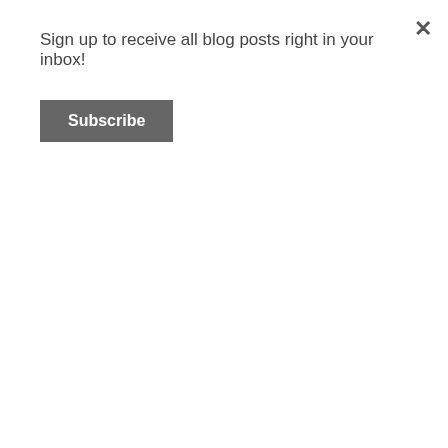Sign up to receive all blog posts right in your inbox!
Subscribe
1500 Pages Multicolor Index Cards 3 x 5 Inc...
$24.99 prime
(42)
Studying Tips, Tricks & Hacks: Quickstudy L...
$6.95 prime
(198)
[Figure (illustration): Book cover: Learning How to Learn by Barbara Oakley]
Learning How to Learn: How to Succeed in...
$7.99
(958)
[Figure (photo): Book cover: Classical for Studying]
Classical for Studying
$7.99